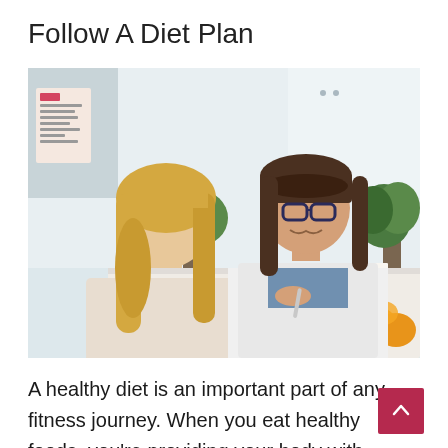Follow A Diet Plan
[Figure (photo): A nutritionist or healthcare professional wearing a white coat and glasses smiles across a desk at a blonde female patient/client. There are green plants visible in the background and fruits on the desk. The setting appears to be a medical or wellness office.]
A healthy diet is an important part of any fitness journey. When you eat healthy foods, you're providing your body with the nutrients it needs to